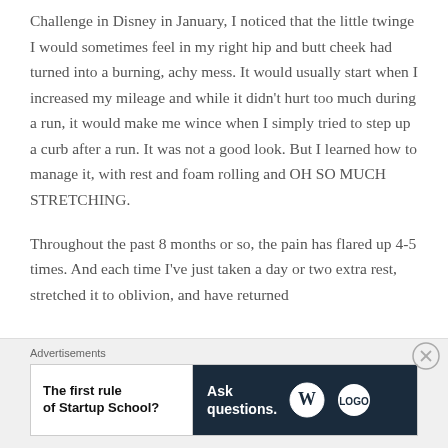Challenge in Disney in January, I noticed that the little twinge I would sometimes feel in my right hip and butt cheek had turned into a burning, achy mess. It would usually start when I increased my mileage and while it didn't hurt too much during a run, it would make me wince when I simply tried to step up a curb after a run. It was not a good look. But I learned how to manage it, with rest and foam rolling and OH SO MUCH STRETCHING.
Throughout the past 8 months or so, the pain has flared up 4-5 times. And each time I've just taken a day or two extra rest, stretched it to oblivion, and have returned
[Figure (other): Advertisement banner: left side white background with bold text 'The first rule of Startup School?', right side dark navy background with text 'Ask questions.' and WordPress logo and another circular logo]